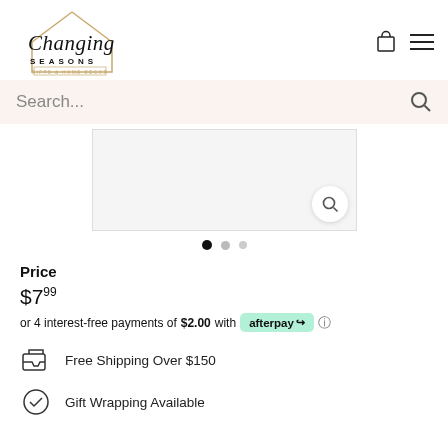[Figure (logo): Changing Seasons Gifts & Home Decor logo with house outline and script text]
Search...
[Figure (photo): Product image placeholder with magnify button]
[Figure (other): Carousel dots: one filled, two empty]
Price
$7.99
or 4 interest-free payments of $2.00 with afterpay
Free Shipping Over $150
Gift Wrapping Available